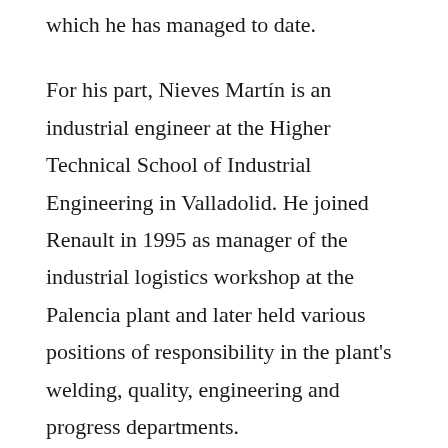which he has managed to date.
For his part, Nieves Martín is an industrial engineer at the Higher Technical School of Industrial Engineering in Valladolid. He joined Renault in 1995 as manager of the industrial logistics workshop at the Palencia plant and later held various positions of responsibility in the plant's welding, quality, engineering and progress departments.
In 2014 she moved to the north-east of the industrial pole in France and returned to the Palencia plant in 2015 as project manager